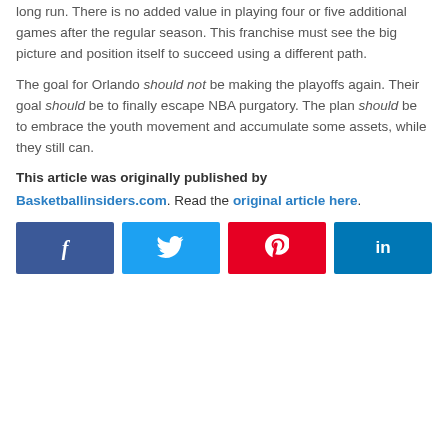long run. There is no added value in playing four or five additional games after the regular season. This franchise must see the big picture and position itself to succeed using a different path.
The goal for Orlando should not be making the playoffs again. Their goal should be to finally escape NBA purgatory. The plan should be to embrace the youth movement and accumulate some assets, while they still can.
This article was originally published by Basketballinsiders.com. Read the original article here.
[Figure (other): Social media share buttons: Facebook, Twitter, Pinterest, LinkedIn]